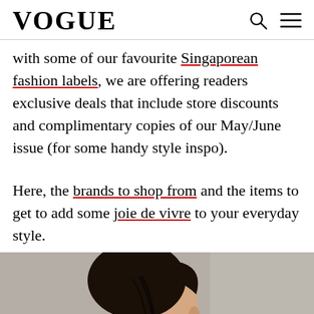VOGUE
with some of our favourite Singaporean fashion labels, we are offering readers exclusive deals that include store discounts and complimentary copies of our May/June issue (for some handy style inspo).
Here, the brands to shop from and the items to get to add some joie de vivre to your everyday style.
[Figure (photo): A model with black hair partially covering her face, wearing a pink ribbed top, photographed against a grey background.]